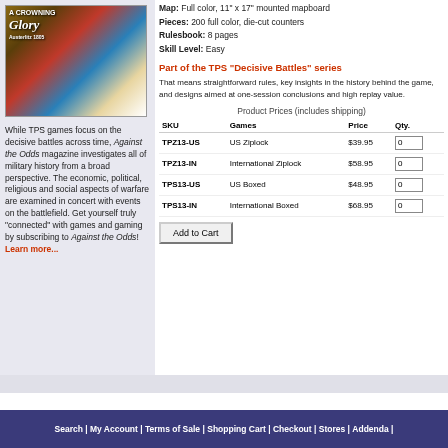[Figure (illustration): Book/game cover image for 'A Crowning Glory' showing a battle scene]
While TPS games focus on the decisive battles across time, Against the Odds magazine investigates all of military history from a broad perspective. The economic, political, religious and social aspects of warfare are examined in concert with events on the battlefield. Get yourself truly "connected" with games and gaming by subscribing to Against the Odds! Learn more...
Map: Full color, 11" x 17" mounted mapboard
Pieces: 200 full color, die-cut counters
Rulesbook: 8 pages
Skill Level: Easy
Part of the TPS "Decisive Battles" series
That means straightforward rules, key insights in the history behind the game, and designs aimed at one-session conclusions and high replay value.
Product Prices (includes shipping)
| SKU | Games | Price | Qty. |
| --- | --- | --- | --- |
| TPZ13-US | US Ziplock | $39.95 | 0 |
| TPZ13-IN | International Ziplock | $58.95 | 0 |
| TPS13-US | US Boxed | $48.95 | 0 |
| TPS13-IN | International Boxed | $68.95 | 0 |
Search | My Account | Terms of Sale | Shopping Cart | Checkout | Stores | Addenda |